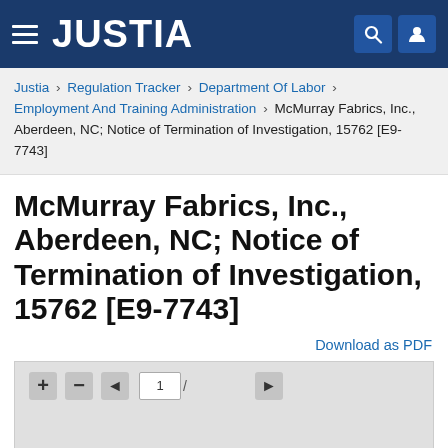JUSTIA
Justia › Regulation Tracker › Department Of Labor › Employment And Training Administration › McMurray Fabrics, Inc., Aberdeen, NC; Notice of Termination of Investigation, 15762 [E9-7743]
McMurray Fabrics, Inc., Aberdeen, NC; Notice of Termination of Investigation, 15762 [E9-7743]
Download as PDF
[Figure (screenshot): Document viewer toolbar with zoom and pagination controls showing page 1]